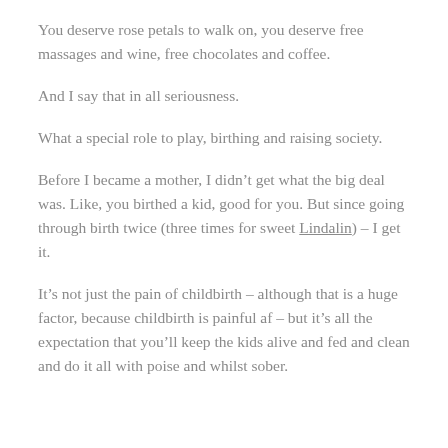You deserve rose petals to walk on, you deserve free massages and wine, free chocolates and coffee.
And I say that in all seriousness.
What a special role to play, birthing and raising society.
Before I became a mother, I didn’t get what the big deal was. Like, you birthed a kid, good for you. But since going through birth twice (three times for sweet Lindalin) – I get it.
It’s not just the pain of childbirth – although that is a huge factor, because childbirth is painful af – but it’s all the expectation that you’ll keep the kids alive and fed and clean and do it all with poise and whilst sober.